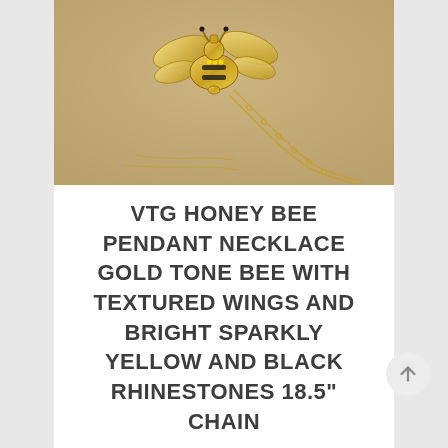[Figure (photo): Close-up photo of a gold-tone honey bee pendant necklace on a tan/kraft paper background. The bee pendant has textured wings and rhinestones. A delicate gold chain is visible.]
VTG HONEY BEE PENDANT NECKLACE GOLD TONE BEE WITH TEXTURED WINGS AND BRIGHT SPARKLY YELLOW AND BLACK RHINESTONES 18.5" CHAIN